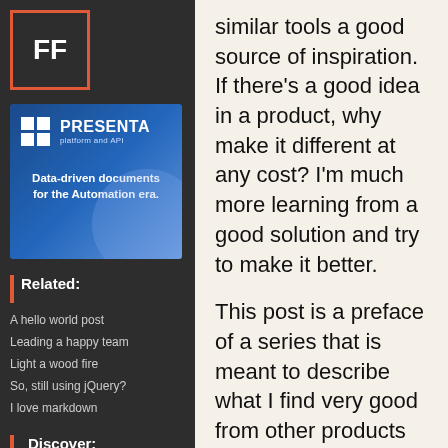[Figure (logo): FF logo in white text on dark background inside an orange-bordered square box]
[Figure (illustration): PRESENTA platform and API advertisement banner with blue gradient background, grid icon, and tagline: Data-driven documents for the Automation era.]
Related:
A hello world post
Leading a happy team
Light a wood fire
So, still using jQuery?
I love markdown
Discover:
similar tools a good source of inspiration. If there's a good idea in a product, why make it different at any cost? I'm much more learning from a good solution and try to make it better.
This post is a preface of a series that is meant to describe what I find very good from other products